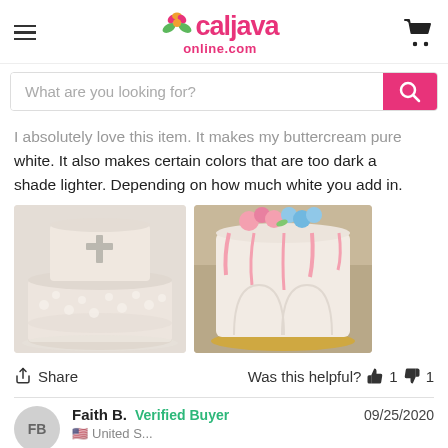caljavaonline.com
What are you looking for?
I absolutely love this item. It makes my buttercream pure white. It also makes certain colors that are too dark a shade lighter. Depending on how much white you add in.
[Figure (photo): Two photos of cakes decorated with white buttercream frosting. Left photo shows a two-tier white cake with a cross design. Right photo shows a white cake with pink and blue floral decorations and drips.]
Share   Was this helpful?  👍 1  👎 1
Faith B.  Verified Buyer  09/25/2020